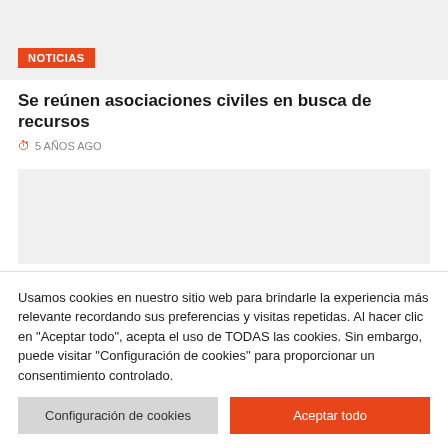[Figure (photo): Top image area with NOTICIAS badge]
Se reúnen asociaciones civiles en busca de recursos
⊙ 5 AÑOS AGO
[Figure (photo): Second image placeholder area]
Usamos cookies en nuestro sitio web para brindarle la experiencia más relevante recordando sus preferencias y visitas repetidas. Al hacer clic en "Aceptar todo", acepta el uso de TODAS las cookies. Sin embargo, puede visitar "Configuración de cookies" para proporcionar un consentimiento controlado.